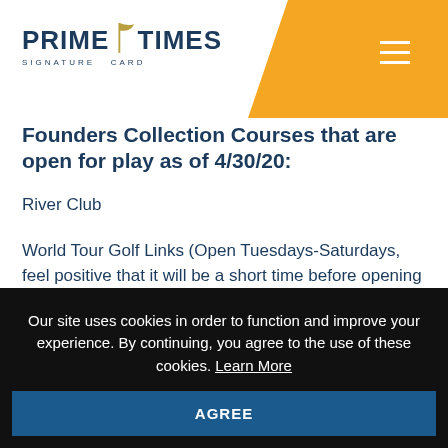[Figure (logo): Prime Times Signature Card logo with golf flag icon and orange background header bar with hamburger menu icon]
Founders Collection Courses that are open for play as of 4/30/20:
River Club
World Tour Golf Links (Open Tuesdays-Saturdays, feel positive that it will be a short time before opening 7 days a week)
Long Bay Club
Our site uses cookies in order to function and improve your experience. By continuing, you agree to the use of these cookies. Learn More
AGREE